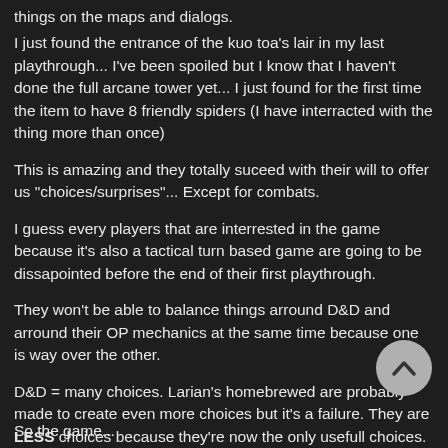things on the maps and dialogs.
I just found the entrance of the kuo toa's lair in my last playthrough... I've been spoiled but I know that I haven't done the full arcane tower yet... I just found for the first time the item to have 8 friendly spiders (I have interracted with the thing more than once)
This is amazing and they totally suceed with their will to offer us "choices/surprises"... Except for combats.
I guess every players that are interrested in the game because it's also a tactical turn based game are going to be dissapointed before the end of their first playthrough.
They won't be able to balance things arround D&D and arround their OP mechanics at the same time because one is way over the other.
D&D = many choices. Larian's homebrewed are probably made to create even more choices but it's a failure. They are LESS choices because they're now the only usefull choices. The game is balanced arround them and I also include things like dipping in the equation.
Dozens of D&D things are useless but we also have so many powerfull tools the AI won't ever use that hard encounters are unfair.
(Don't get me wrong, It would be horrible if ennemies were dipping/shove/backstab/use highground correctly).
So the game...